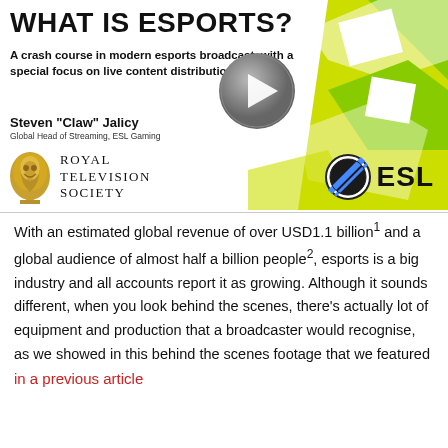WHAT IS ESPORTS?
A crash course in modern esports broadcast, with a special focus on live content distribution
Steven "Claw" Jalicy
Global Head of Streaming, ESL Gaming
[Figure (logo): Royal Television Society logo and ESL Gaming logo]
With an estimated global revenue of over USD1.1 billion¹ and a global audience of almost half a billion people², esports is a big industry and all accounts report it as growing. Although it sounds different, when you look behind the scenes, there's actually lot of equipment and production that a broadcaster would recognise, as we showed in this behind the scenes footage that we featured in a previous article